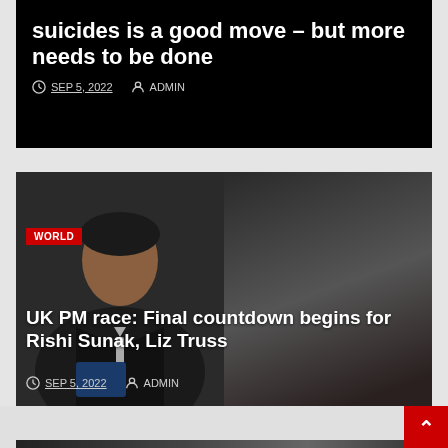suicides is a good move – but more needs to be done
SEP 5, 2022  ADMIN
[Figure (photo): Two-panel photo showing Liz Truss on the left and Rishi Sunak on the right, both in formal attire against dark backgrounds.]
UK PM race: Final countdown begins for Rishi Sunak, Liz Truss
SEP 5, 2022  ADMIN